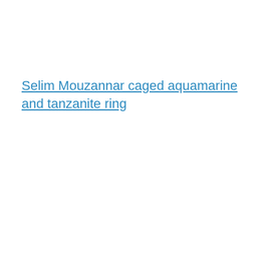Selim Mouzannar caged aquamarine and tanzanite ring